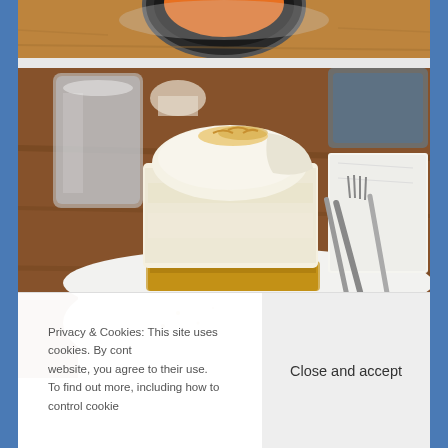[Figure (photo): Partial photo of a dark bowl with orange soup/food on a wooden table background, cropped at top]
[Figure (photo): Photo of a slice of cheesecake or similar layered cake with ice cream on a white plate, with a fork, glass, and napkin visible on a wooden table]
Privacy & Cookies: This site uses cookies. By cont website, you agree to their use.
To find out more, including how to control cookie
Close and accept